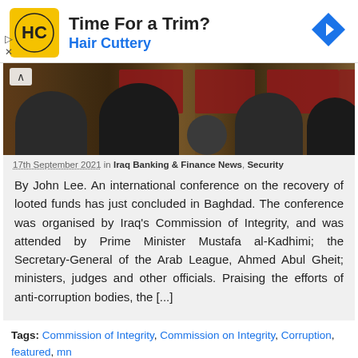[Figure (other): Hair Cuttery advertisement banner with logo (HC in yellow square), text 'Time For a Trim?' and 'Hair Cuttery', and a blue navigation arrow icon]
[Figure (photo): Conference room photo showing people seated with backs to camera, red chairs visible in background]
17th September 2021 in Iraq Banking & Finance News, Security
By John Lee. An international conference on the recovery of looted funds has just concluded in Baghdad. The conference was organised by Iraq's Commission of Integrity, and was attended by Prime Minister Mustafa al-Kadhimi; the Secretary-General of the Arab League, Ahmed Abul Gheit; ministers, judges and other officials. Praising the efforts of anti-corruption bodies, the [...]
Tags: Commission of Integrity, Commission on Integrity, Corruption, featured, mn